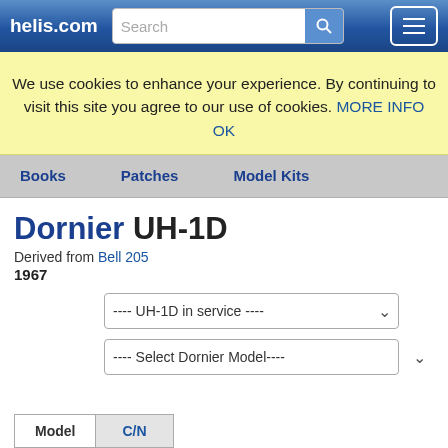helis.com
We use cookies to enhance your experience. By continuing to visit this site you agree to our use of cookies. MORE INFO OK
Books  Patches  Model Kits
Dornier UH-1D
Derived from Bell 205
1967
---- UH-1D in service ----
---- Select Dornier Model----
| Model | C/N |
| --- | --- |